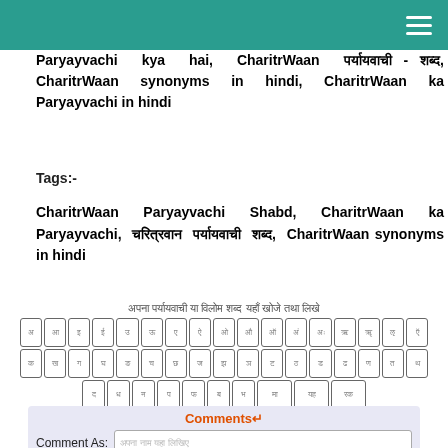Paryayvachi kya hai, CharitrWaan पर्यायवाची शब्द, CharitrWaan synonyms in hindi, CharitrWaan ka Paryayvachi in hindi
Tags:-
CharitrWaan Paryayvachi Shabd, CharitrWaan ka Paryayvachi, चरित्रवान पर्यायवाची शब्द, CharitrWaan synonyms in hindi
अपना पर्यायवाची या विलोम शब्द यहाँ खोजे तथा लिखे
[Figure (other): Hindi virtual keyboard layout with Devanagari characters arranged in rows]
Comments↵
Comment As: अपना नाम यहा लिखिए